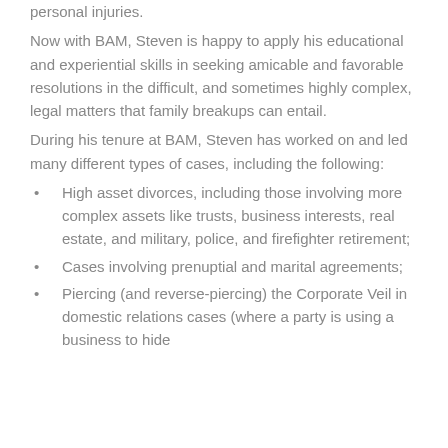personal injuries.
Now with BAM, Steven is happy to apply his educational and experiential skills in seeking amicable and favorable resolutions in the difficult, and sometimes highly complex, legal matters that family breakups can entail.
During his tenure at BAM, Steven has worked on and led many different types of cases, including the following:
High asset divorces, including those involving more complex assets like trusts, business interests, real estate, and military, police, and firefighter retirement;
Cases involving prenuptial and marital agreements;
Piercing (and reverse-piercing) the Corporate Veil in domestic relations cases (where a party is using a business to hide...